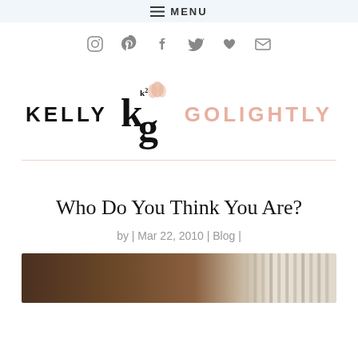≡ MENU
[Figure (other): Social media icons: Instagram, Pinterest, Facebook, Twitter, heart/Bloglovin, email/envelope]
[Figure (logo): Kelly Golightly blog logo with stylized KG monogram in black and peach/salmon text]
Who Do You Think You Are?
by | Mar 22, 2010 | Blog |
[Figure (photo): Partial photo at bottom of page showing dark/brown tones on left and striped pattern on right]